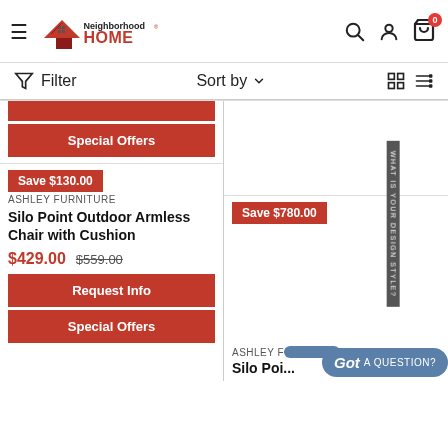[Figure (logo): Neighborhood HOME logo with house icon]
Filter  Sort by  (grid/list view icons)
Save $130.00
ASHLEY FURNITURE
Silo Point Outdoor Armless Chair with Cushion
$429.00  $559.00
Request Info
Special Offers
Save $780.00
ASHLEY F...
Silo Poi...
Got A QUESTION?